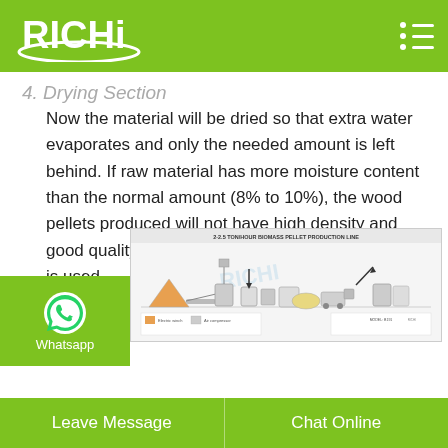RICHI
4. Drying Section
Now the material will be dried so that extra water evaporates and only the needed amount is left behind. If raw material has more moisture content than the normal amount (8% to 10%), the wood pellets produced will not have high density and good quality. In this step, a wood drying machine is used.
[Figure (engineering-diagram): 2-2.5 TON/HOUR BIOMASS PELLET PRODUCTION LINE diagram showing the full production line layout with machinery, conveyors, and equipment labeled. RICHI watermark visible.]
Leave Message | Chat Online